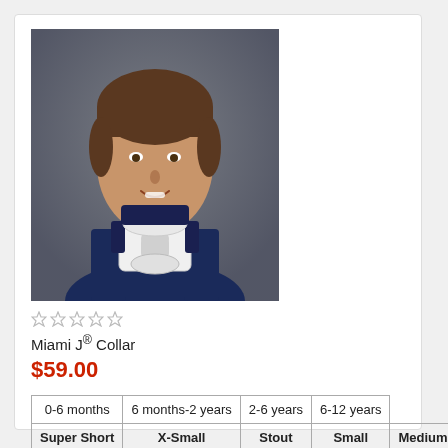[Figure (photo): Young woman wearing a Miami J neck collar brace, smiling, against a gray background. She is wearing a navy blue sleeveless top.]
★★★★★ (empty stars / no rating)
Miami J® Collar
$59.00
| 0-6 months | 6 months-2 years | 2-6 years | 6-12 years |
| Super Short | X-Small | Stout | Small | Medium | Large |